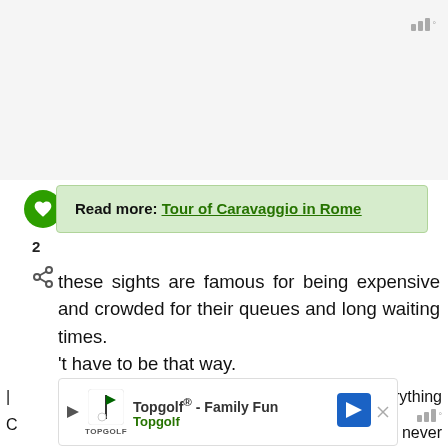[Figure (screenshot): Top gray/white area of a webpage with signal bars icon in the upper right corner]
Read more: Tour of Caravaggio in Rome
2
these sights are famous for being expensive and crowded for their queues and long waiting times. [It] 't have to be that way.
[Figure (screenshot): WHAT'S NEXT widget with circular thumbnail image of a building, labeled 'Finding Caravaggio i...']
[Figure (screenshot): Topgolf advertisement banner: Topgolf® - Family Fun, Topgolf logo and navigation arrow icon]